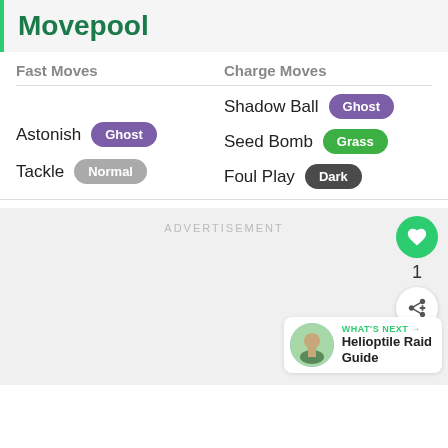Movepool
Fast Moves
Charge Moves
Astonish Ghost
Tackle Normal
Shadow Ball Ghost
Seed Bomb Grass
Foul Play Dark
ADVERTISEMENT
1
WHAT'S NEXT → Helioptile Raid Guide